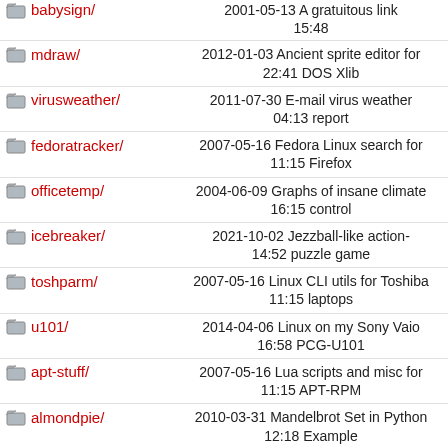babysign/ | 2001-05-13 15:48 A gratuitous link
mdraw/ | 2012-01-03 22:41 Ancient sprite editor for DOS Xlib
virusweather/ | 2011-07-30 04:13 E-mail virus weather report
fedoratracker/ | 2007-05-16 11:15 Fedora Linux search for Firefox
officetemp/ | 2004-06-09 16:15 Graphs of insane climate control
icebreaker/ | 2021-10-02 14:52 Jezzball-like action-puzzle game
toshparm/ | 2007-05-16 11:15 Linux CLI utils for Toshiba laptops
u101/ | 2014-04-06 16:58 Linux on my Sony Vaio PCG-U101
apt-stuff/ | 2007-05-16 11:15 Lua scripts and misc for APT-RPM
almondpie/ | 2010-03-31 12:18 Mandelbrot Set in Python Example
mouseflick/ | 2007-05-16 11:15 Minimalist gesture input for X
openafs/ | 2007-05-16 11:15 Modified RPMs for OpenAFS
mmwebedit/ | 2012-07-25 22:49 Old web script for sake of history